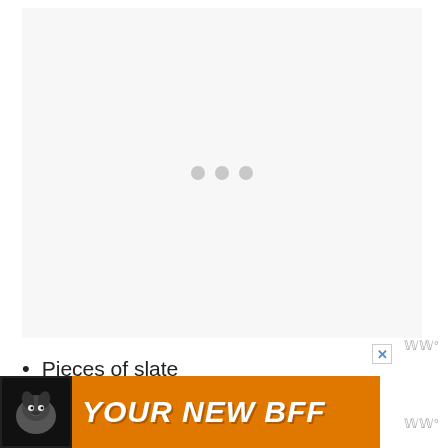[Figure (photo): Loading image placeholder with three gray dots centered on a light gray background]
Pieces of slate
River rocks (not too large)
[Figure (infographic): Orange advertisement banner reading YOUR NEW BFF with a dog image and a close button]